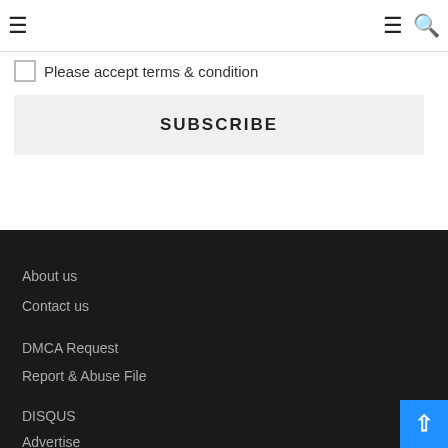Navigation header with hamburger menu icons and search icon
Please accept terms & condition
SUBSCRIBE
About us
Contact us
DMCA Request
Report & Abuse File
DISQUS
Advertise